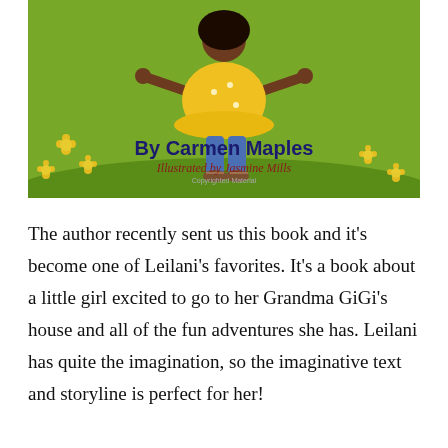[Figure (illustration): Book cover illustration showing a young Black girl in a yellow dress and blue jeans standing on green grass with yellow flowers. Text reads 'By Carmen Maples', 'Illustrated by Jasmine Mills', and 'Copyrighted Material'.]
The author recently sent us this book and it's become one of Leilani's favorites. It's a book about a little girl excited to go to her Grandma GiGi's house and all of the fun adventures she has. Leilani has quite the imagination, so the imaginative text and storyline is perfect for her!